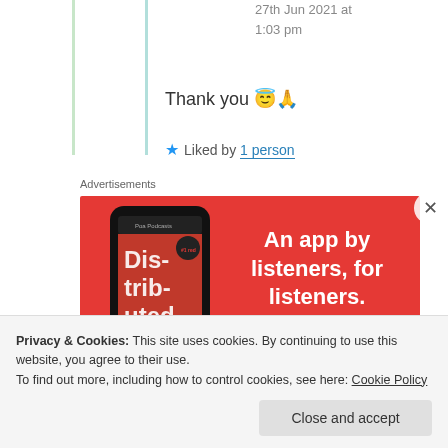27th Jun 2021 at 1:03 pm
Thank you 😇🙏
★ Liked by 1 person
Advertisements
[Figure (infographic): Red advertisement banner for a podcast app. Left side shows a smartphone displaying a podcast app with 'Dis-trib-uted' text. Right side has white bold text reading 'An app by listeners, for listeners.' with a dark red 'Download now' button.]
Privacy & Cookies: This site uses cookies. By continuing to use this website, you agree to their use.
To find out more, including how to control cookies, see here: Cookie Policy
Close and accept